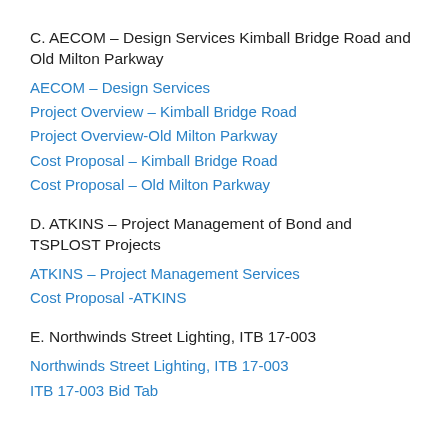C. AECOM – Design Services Kimball Bridge Road and Old Milton Parkway
AECOM – Design Services
Project Overview – Kimball Bridge Road
Project Overview-Old Milton Parkway
Cost Proposal – Kimball Bridge Road
Cost Proposal – Old Milton Parkway
D. ATKINS – Project Management of Bond and TSPLOST Projects
ATKINS – Project Management Services
Cost Proposal -ATKINS
E. Northwinds Street Lighting, ITB 17-003
Northwinds Street Lighting, ITB 17-003
ITB 17-003 Bid Tab